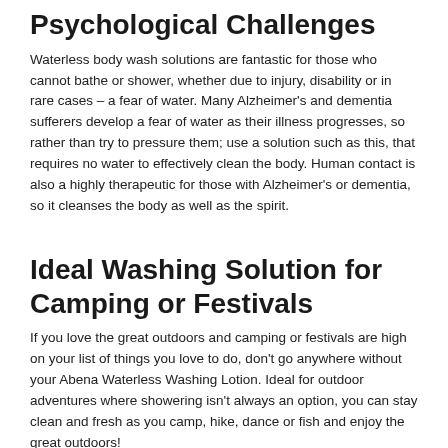Psychological Challenges
Waterless body wash solutions are fantastic for those who cannot bathe or shower, whether due to injury, disability or in rare cases – a fear of water. Many Alzheimer's and dementia sufferers develop a fear of water as their illness progresses, so rather than try to pressure them; use a solution such as this, that requires no water to effectively clean the body. Human contact is also a highly therapeutic for those with Alzheimer's or dementia, so it cleanses the body as well as the spirit.
Ideal Washing Solution for Camping or Festivals
If you love the great outdoors and camping or festivals are high on your list of things you love to do, don't go anywhere without your Abena Waterless Washing Lotion. Ideal for outdoor adventures where showering isn't always an option, you can stay clean and fresh as you camp, hike, dance or fish and enjoy the great outdoors!
How to Use Abena Waterless